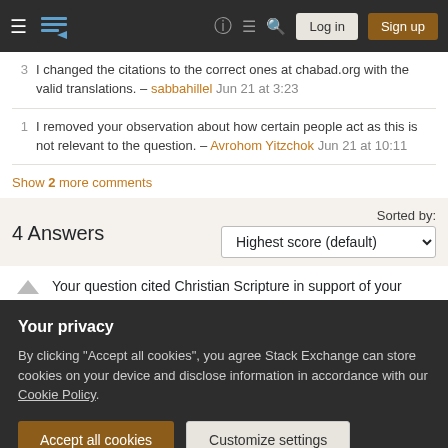Stack Exchange navigation bar with Log in and Sign up buttons
3  I changed the citations to the correct ones at chabad.org with the valid translations. – sabbahillel Jun 21 at 3:23
1  I removed your observation about how certain people act as this is not relevant to the question. – Avrohom Yitzchok Jun 21 at 10:11
Show 2 more comments
4 Answers
Sorted by: Highest score (default)
Your question cited Christian Scripture in support of your
Your privacy
By clicking "Accept all cookies", you agree Stack Exchange can store cookies on your device and disclose information in accordance with our Cookie Policy.
Accept all cookies  Customize settings
you quote are about generic toil. A broader point is that